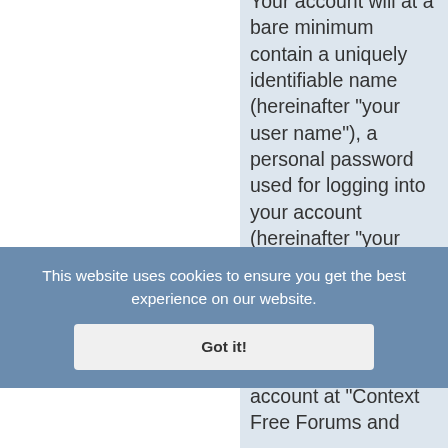Your account will at a bare minimum contain a uniquely identifiable name (hereinafter “your user name”), a personal password used for logging into your account (hereinafter “your password”) and a personal valid email address (hereinafter “your email”). Your information for your account at “Context Free Forums and
This website uses cookies to ensure you get the best experience on our website.